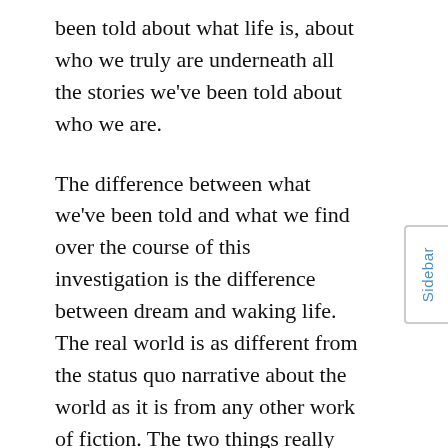been told about what life is, about who we truly are underneath all the stories we've been told about who we are.
The difference between what we've been told and what we find over the course of this investigation is the difference between dream and waking life. The real world is as different from the status quo narrative about the world as it is from any other work of fiction. The two things really could not be any more different.
And the good news is that just as your false view of yourself and your world shaped your human expression in the service of the powerful, the rolling back of that mind fog shapes your human